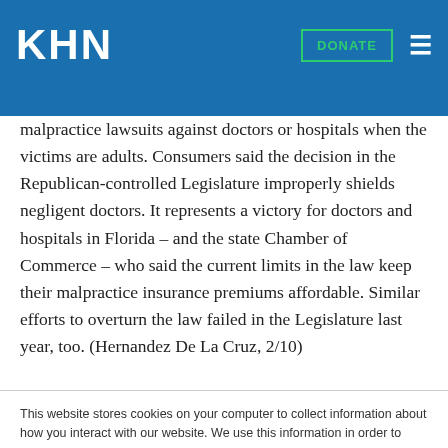KHN
malpractice lawsuits against doctors or hospitals when the victims are adults. Consumers said the decision in the Republican-controlled Legislature improperly shields negligent doctors. It represents a victory for doctors and hospitals in Florida – and the state Chamber of Commerce – who said the current limits in the law keep their malpractice insurance premiums affordable. Similar efforts to overturn the law failed in the Legislature last year, too. (Hernandez De La Cruz, 2/10)
This website stores cookies on your computer to collect information about how you interact with our website. We use this information in order to improve and customize your browsing experience and for analytics and metrics about our visitors both on this website and other media. To find out more about the cookies we use, see our Privacy Policy.